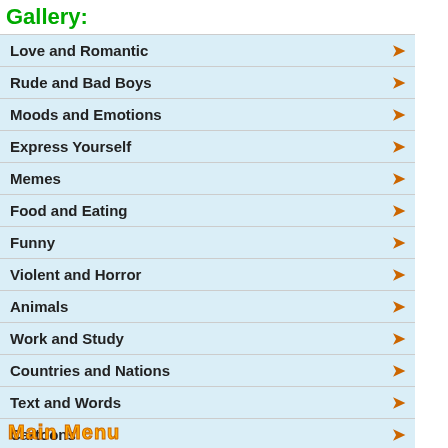Gallery:
Love and Romantic
Rude and Bad Boys
Moods and Emotions
Express Yourself
Memes
Food and Eating
Funny
Violent and Horror
Animals
Work and Study
Countries and Nations
Text and Words
Cartoons
Sports
Holidays & Celebration
Main Menu
[Figure (illustration): Grey placeholder image with speech bubble icon]
Mopping
How cool is this cashier?? Have and enjoy!!
Emoticons I
[Figure (illustration): Cashier emoticon - smiley face at a cashier counter with items]
Cashier
[Figure (illustration): Second cashier emoticon - smiley face with hat]